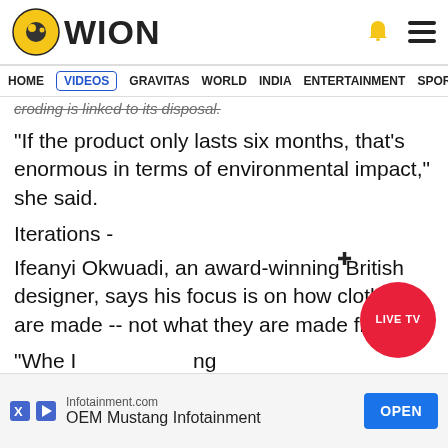WION
HOME VIDEOS GRAVITAS WORLD INDIA ENTERTAINMENT SPORTS
croding is linked to its disposal.
"If the product only lasts six months, that's enormous in terms of environmental impact," she said.
Iterations -
Ifeanyi Okwuadi, an award-winning British designer, says his focus is on how clothes are made -- not what they are made from.
"When I sustainability, I'm talking about OEM Mustang Infotainment g the